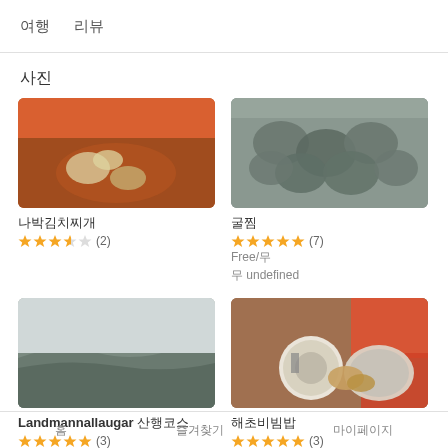여행  리뷰
사진
[Figure (photo): Orange bowl with dumplings in soup]
나박김치찌개
★★★½☆  (2)
[Figure (photo): Fresh oysters clustered together in water]
굴찜
★★★★★  (7)
Free/무
무 undefined
[Figure (photo): Mountainous landscape with green hills and grey sky]
Landmannallaugar 산행코스
★★★★★  (3)
[Figure (photo): Overhead view of Korean food dishes on wooden table with red cloth]
해초비빔밥
★★★★★  (3)
홈   즐겨찾기   마이페이지